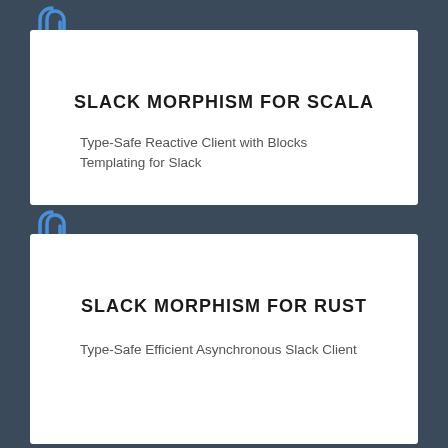[Figure (illustration): Blue paperclip icon overlapping the top-left corner of the first white card]
SLACK MORPHISM FOR SCALA
Type-Safe Reactive Client with Blocks Templating for Slack
[Figure (illustration): Blue paperclip icon overlapping the top-left corner of the second white card]
SLACK MORPHISM FOR RUST
Type-Safe Efficient Asynchronous Slack Client